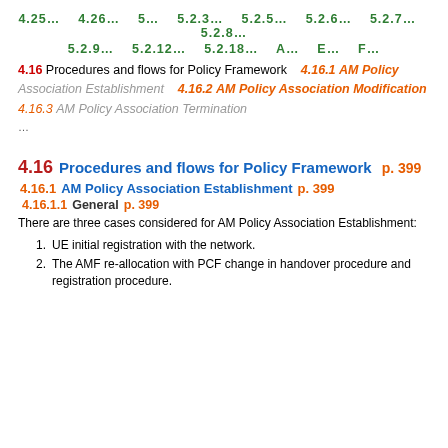4.25...  4.26...  5...  5.2.3...  5.2.5...  5.2.6...  5.2.7...  5.2.8...  5.2.9...  5.2.12...  5.2.18...  A...  E...  F...
4.16 Procedures and flows for Policy Framework  4.16.1 AM Policy Association Establishment  4.16.2 AM Policy Association Modification  4.16.3 AM Policy Association Termination
...
4.16  Procedures and flows for Policy Framework  p. 399
4.16.1  AM Policy Association Establishment  p. 399
4.16.1.1  General  p. 399
There are three cases considered for AM Policy Association Establishment:
UE initial registration with the network.
The AMF re-allocation with PCF change in handover procedure and registration procedure.